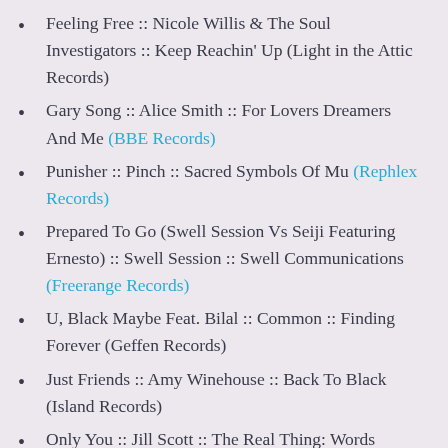Feeling Free :: Nicole Willis & The Soul Investigators :: Keep Reachin' Up (Light in the Attic Records)
Gary Song :: Alice Smith :: For Lovers Dreamers And Me (BBE Records)
Punisher :: Pinch :: Sacred Symbols Of Mu (Rephlex Records)
Prepared To Go (Swell Session Vs Seiji Featuring Ernesto) :: Swell Session :: Swell Communications (Freerange Records)
U, Black Maybe Feat. Bilal :: Common :: Finding Forever (Geffen Records)
Just Friends :: Amy Winehouse :: Back To Black (Island Records)
Only You :: Jill Scott :: The Real Thing: Words